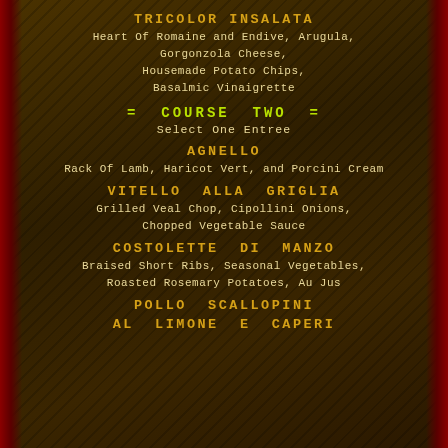TRICOLOR INSALATA
Heart Of Romaine and Endive, Arugula, Gorgonzola Cheese, Housemade Potato Chips, Basalmic Vinaigrette
= COURSE TWO =
Select One Entree
AGNELLO
Rack Of Lamb, Haricot Vert, and Porcini Cream
VITELLO ALLA GRIGLIA
Grilled Veal Chop, Cipollini Onions, Chopped Vegetable Sauce
COSTOLETTE DI MANZO
Braised Short Ribs, Seasonal Vegetables, Roasted Rosemary Potatoes, Au Jus
POLLO SCALLOPINI
AL LIMONE E CAPERI